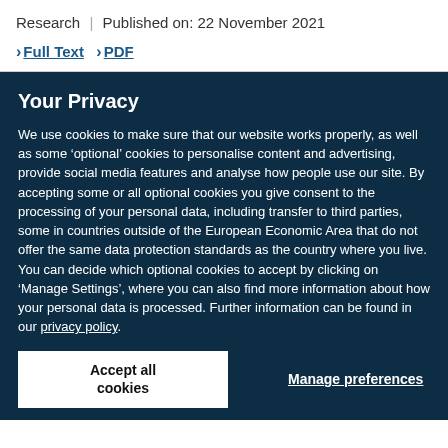Research | Published on: 22 November 2021
> Full Text > PDF
Your Privacy
We use cookies to make sure that our website works properly, as well as some ‘optional’ cookies to personalise content and advertising, provide social media features and analyse how people use our site. By accepting some or all optional cookies you give consent to the processing of your personal data, including transfer to third parties, some in countries outside of the European Economic Area that do not offer the same data protection standards as the country where you live. You can decide which optional cookies to accept by clicking on ‘Manage Settings’, where you can also find more information about how your personal data is processed. Further information can be found in our privacy policy.
Accept all cookies
Manage preferences